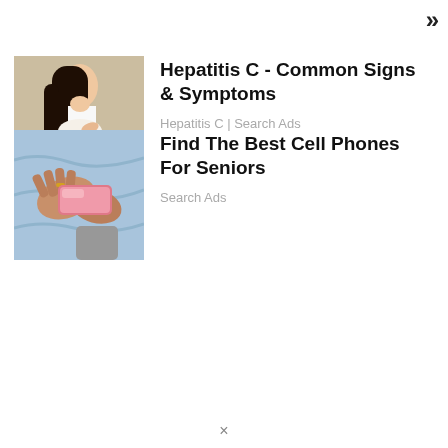»
[Figure (photo): Woman sitting on bed holding her lower back in pain, wearing white top]
Hepatitis C - Common Signs & Symptoms
Hepatitis C | Search Ads
[Figure (photo): Elderly person's hands holding a pink smartphone]
Find The Best Cell Phones For Seniors
Search Ads
×